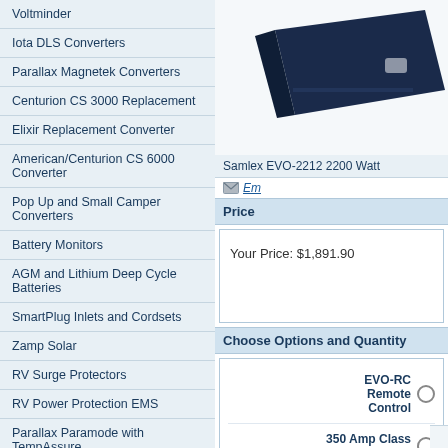Voltminder
Iota DLS Converters
Parallax Magnetek Converters
Centurion CS 3000 Replacement
Elixir Replacement Converter
American/Centurion CS 6000 Converter
Pop Up and Small Camper Converters
Battery Monitors
AGM and Lithium Deep Cycle Batteries
SmartPlug Inlets and Cordsets
Zamp Solar
RV Surge Protectors
RV Power Protection EMS
Parallax Paramode with TempAssure
Lithium Battery Converter Chargers
Cotek Inverters & Chargers
Samlex EVO Inverter Chargers
[Figure (photo): Product photo of Samlex EVO-2212 2200 Watt inverter charger, dark navy blue unit]
Samlex EVO-2212 2200 Watt
Em (email link)
Price
Your Price: $1,891.90
Choose Options and Quantity
EVO-RC Remote Control
350 Amp Class T Fuse